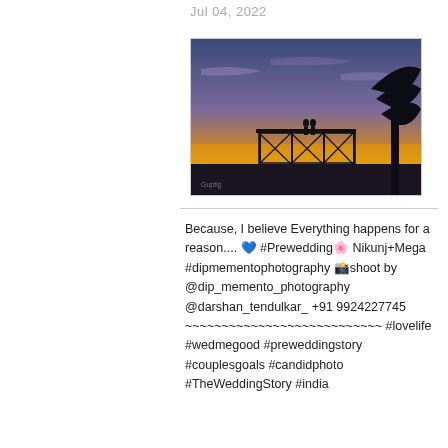Jul 04, 2022
[Figure (photo): Silhouette of a couple standing on a scaffolding/platform structure against a golden sunset sky with dark tree silhouettes on the right.]
Because, I believe Everything happens for a reason.... 💙 #Prewedding🌸 Nikunj+Mega #dipmementophotography 📸shoot by @dip_memento_photography @darshan_tendulkar_ +91 9924227745 ~~~~~~~~~~~~~~~~~~~~~~~~~~~ #lovelife #wedmegood #preweddingstory #couplesgoals #candidphoto #TheWeddingStory #india